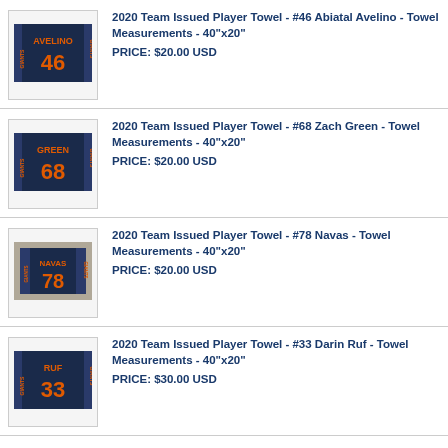[Figure (photo): SF Giants 2020 Team Issued Player Towel #46 Avelino, navy background with orange number and name]
2020 Team Issued Player Towel - #46 Abiatal Avelino - Towel Measurements - 40"x20"
PRICE: $20.00 USD
[Figure (photo): SF Giants 2020 Team Issued Player Towel #68 Green, navy background with orange number and name]
2020 Team Issued Player Towel - #68 Zach Green - Towel Measurements - 40"x20"
PRICE: $20.00 USD
[Figure (photo): SF Giants 2020 Team Issued Player Towel #78 Navas, navy background with orange number and name]
2020 Team Issued Player Towel - #78 Navas - Towel Measurements - 40"x20"
PRICE: $20.00 USD
[Figure (photo): SF Giants 2020 Team Issued Player Towel #33 Ruf, navy background with orange number and name]
2020 Team Issued Player Towel - #33 Darin Ruf - Towel Measurements - 40"x20"
PRICE: $30.00 USD